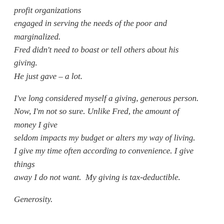profit organizations engaged in serving the needs of the poor and marginalized. Fred didn't need to boast or tell others about his giving. He just gave – a lot.
I've long considered myself a giving, generous person. Now, I'm not so sure. Unlike Fred, the amount of money I give seldom impacts my budget or alters my way of living. I give my time often according to convenience. I give things away I do not want.  My giving is tax-deductible.
Generosity.